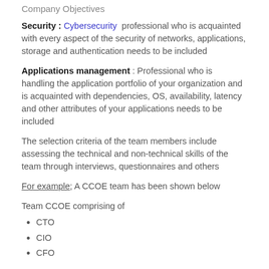Company Objectives
Security : Cybersecurity professional who is acquainted with every aspect of the security of networks, applications, storage and authentication needs to be included
Applications management : Professional who is handling the application portfolio of your organization and is acquainted with dependencies, OS, availability, latency and other attributes of your applications needs to be included
The selection criteria of the team members include assessing the technical and non-technical skills of the team through interviews, questionnaires and others
For example; A CCOE team has been shown below
Team CCOE comprising of
CTO
CIO
CFO